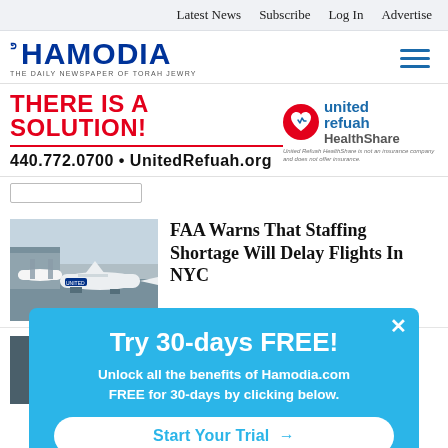Latest News  Subscribe  Log In  Advertise
[Figure (logo): Hamodia logo - The Daily Newspaper of Torah Jewry]
[Figure (infographic): United Refuah HealthShare advertisement banner: THERE IS A SOLUTION! 440.772.0700 • UnitedRefuah.org. United Refuah HealthShare is not an insurance company and does not offer insurance.]
[Figure (photo): Airport tarmac with United Airlines planes at gates]
FAA Warns That Staffing Shortage Will Delay Flights In NYC
[Figure (photo): Person in suit sitting in blue chair]
[Figure (infographic): Popup overlay: Try 30-days FREE! Unlock all the benefits of Hamodia.com FREE for 30-days by clicking below. Start Your Trial →]